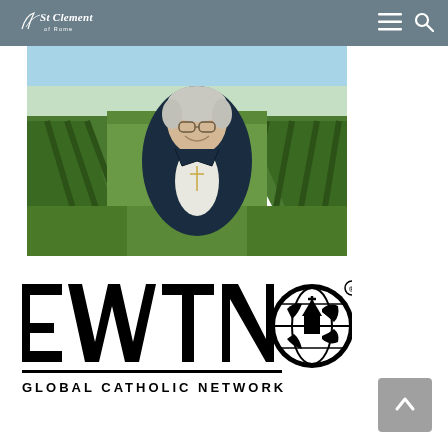St Clement of Rome
[Figure (photo): Smiling elderly nun or religious sister with short gray hair and glasses, wearing a dark navy jacket over a white top with a cross necklace, standing in front of a lush green agricultural field with rows of crops leading to the horizon under a light blue sky.]
[Figure (logo): EWTN Global Catholic Network logo in black and white, featuring large bold letters EWTN with a globe icon showing a church steeple, and the text GLOBAL CATHOLIC NETWORK beneath a horizontal line.]